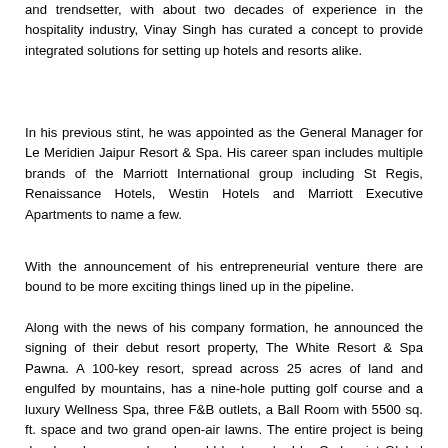and trendsetter, with about two decades of experience in the hospitality industry, Vinay Singh has curated a concept to provide integrated solutions for setting up hotels and resorts alike.
In his previous stint, he was appointed as the General Manager for Le Meridien Jaipur Resort & Spa. His career span includes multiple brands of the Marriott International group including St Regis, Renaissance Hotels, Westin Hotels and Marriott Executive Apartments to name a few.
With the announcement of his entrepreneurial venture there are bound to be more exciting things lined up in the pipeline.
Along with the news of his company formation, he announced the signing of their debut resort property, The White Resort & Spa Pawna. A 100-key resort, spread across 25 acres of land and engulfed by mountains, has a nine-hole putting golf course and a luxury Wellness Spa, three F&B outlets, a Ball Room with 5500 sq. ft. space and two grand open-air lawns. The entire project is being developed, managed and would be launched by Cedarmint Global along with Vikas Jain, owner of the resort.